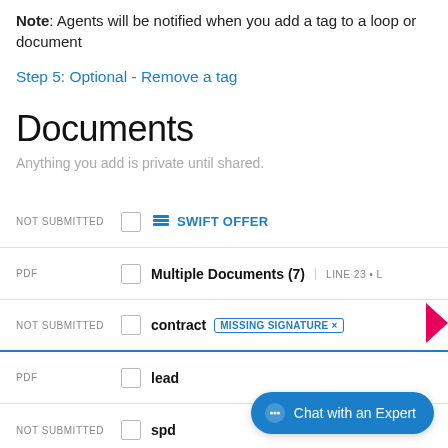Note: Agents will be notified when you add a tag to a loop or document
Step 5: Optional - Remove a tag
Documents
Anything you add is private until shared.
NOT SUBMITTED | SWIFT OFFER
PDF | Multiple Documents (7) | LINE 23 •
NOT SUBMITTED | contract | MISSING SIGNATURE ×
PDF | lead
NOT SUBMITTED | spd
Chat with an Expert